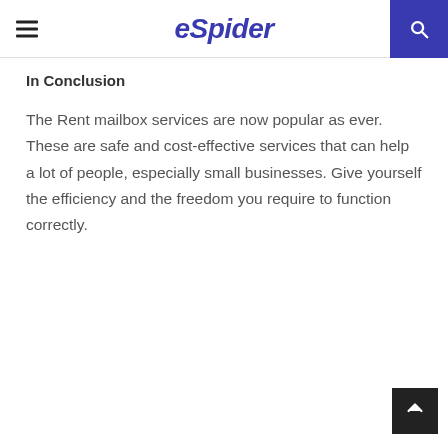eSpider
In Conclusion
The Rent mailbox services are now popular as ever. These are safe and cost-effective services that can help a lot of people, especially small businesses. Give yourself the efficiency and the freedom you require to function correctly.